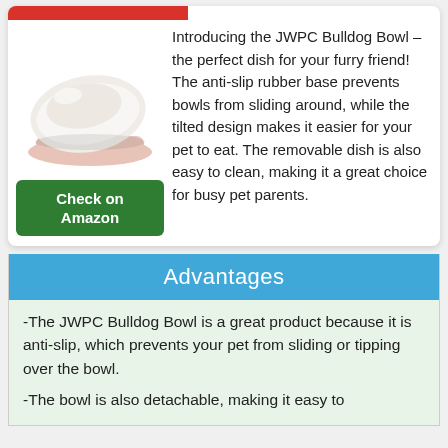[Figure (photo): White ceramic tilted bulldog bowl with pink/blush base, anti-slip design]
Check on Amazon
Introducing the JWPC Bulldog Bowl – the perfect dish for your furry friend! The anti-slip rubber base prevents bowls from sliding around, while the tilted design makes it easier for your pet to eat. The removable dish is also easy to clean, making it a great choice for busy pet parents.
Advantages
-The JWPC Bulldog Bowl is a great product because it is anti-slip, which prevents your pet from sliding or tipping over the bowl.
-The bowl is also detachable, making it easy to